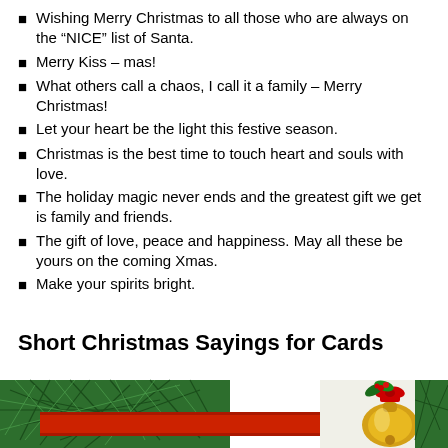Wishing Merry Christmas to all those who are always on the “NICE” list of Santa.
Merry Kiss – mas!
What others call a chaos, I call it a family – Merry Christmas!
Let your heart be the light this festive season.
Christmas is the best time to touch heart and souls with love.
The holiday magic never ends and the greatest gift we get is family and friends.
The gift of love, peace and happiness. May all these be yours on the coming Xmas.
Make your spirits bright.
Short Christmas Sayings for Cards
[Figure (photo): Christmas decorative image with green pine branches, a red banner, and a gold bell with red ribbon and green holly on the right side.]